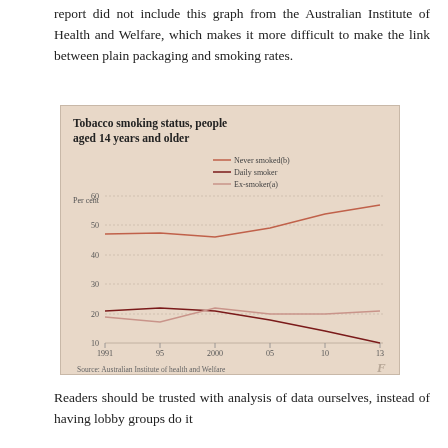report did not include this graph from the Australian Institute of Health and Welfare, which makes it more difficult to make the link between plain packaging and smoking rates.
[Figure (line-chart): Tobacco smoking status, people aged 14 years and older]
Readers should be trusted with analysis of data ourselves, instead of having lobby groups do it